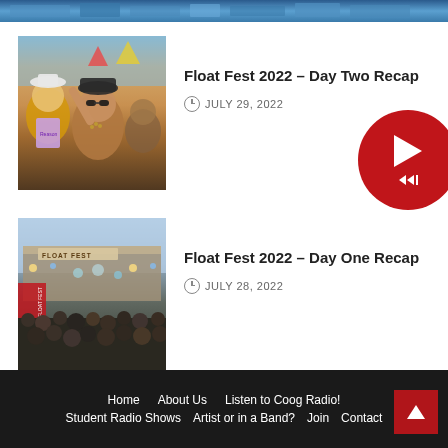[Figure (photo): Partial view of a festival crowd — cropped at top of page]
[Figure (photo): Festival crowd with people celebrating, woman in sunglasses in foreground]
Float Fest 2022 – Day Two Recap
JULY 29, 2022
[Figure (photo): Float Fest stage with 'FLOAT FEST' sign and crowd in front]
Float Fest 2022 – Day One Recap
JULY 28, 2022
Home   About Us   Listen to Coog Radio!   Student Radio Shows   Artist or in a Band?   Join   Contact